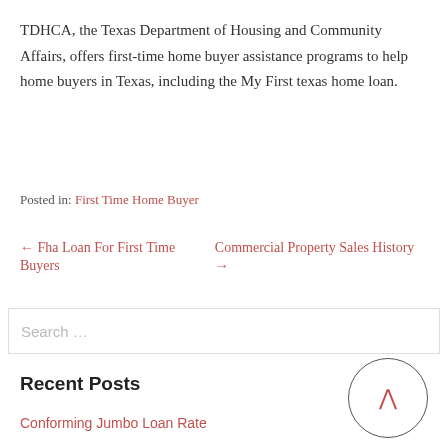TDHCA, the Texas Department of Housing and Community Affairs, offers first-time home buyer assistance programs to help home buyers in Texas, including the My First texas home loan.
Posted in: First Time Home Buyer
← Fha Loan For First Time Buyers
Commercial Property Sales History →
Search …
Recent Posts
Conforming Jumbo Loan Rate